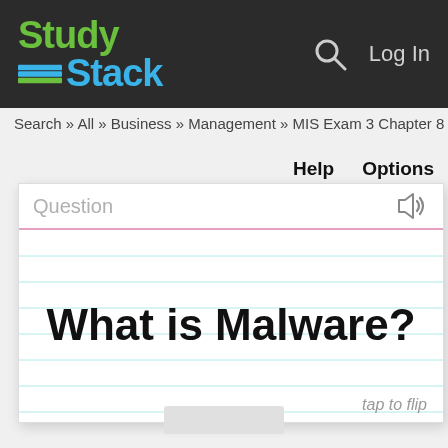[Figure (logo): StudyStack logo with green 'Study' text and blue 'Stack' text with book icon, on dark background, plus search icon and Log In button]
Search » All » Business » Management » MIS Exam 3 Chapter 8
Help    Options
[Figure (screenshot): Flashcard showing 'Question' label at top with speaker icon, ruled lines, and the text 'What is Malware?' centered, with 'tap to flip' in bottom right corner]